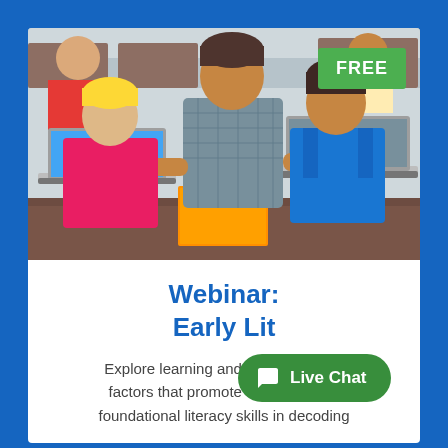[Figure (photo): A male teacher helping two elementary school students (a boy with blond hair in a pink shirt and a girl with dark hair in blue overalls) working on laptops in a classroom. Other students are visible in the background. A green FREE badge is in the top right corner.]
Webinar: Early Literacy
Explore learning and developmental factors that promote the building of foundational literacy skills in decoding
[Figure (other): Live Chat button — green rounded pill button with chat bubble icon and text 'Live Chat']